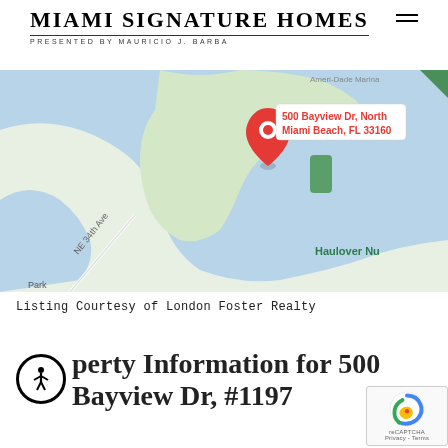MIAMI SIGNATURE HOMES
PRESENTED BY MAURICIO J. BARBA
[Figure (map): Google Maps showing location pin at 500 Bayview Dr, North Miami Beach, FL 33160. Map shows water/bay area in blue, land in light green. NE 34th Ave label visible on left, Haulover Nu[dist] on right. A red location pin marks the address.]
Listing Courtesy of London Foster Realty
Property Information for 500 Bayview Dr, #1197